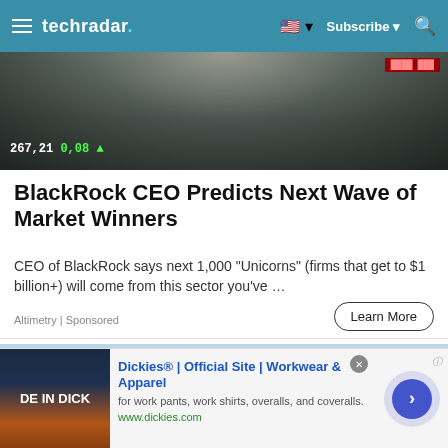techradar | Subscribe
[Figure (photo): Person in suit pointing at stock market ticker board showing 267,21 0,08 with green and red financial data screens]
BlackRock CEO Predicts Next Wave of Market Winners
CEO of BlackRock says next 1,000 "Unicorns" (firms that get to $1 billion+) will come from this sector you've ...
Altimetry | Sponsored
[Figure (photo): Aerial panoramic view of a city/town with mountains in the background under a partly cloudy blue sky]
Dickies® | Official Site | Workwear & Apparel
for work pants, work shirts, overalls, and coveralls.
www.dickies.com